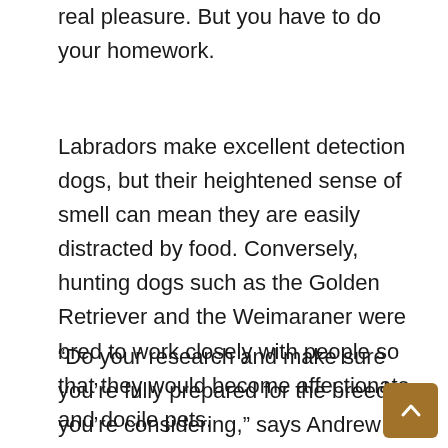real pleasure. But you have to do your homework.
Labradors make excellent detection dogs, but their heightened sense of smell can mean they are easily distracted by food. Conversely, hunting dogs such as the Golden Retriever and the Weimaraner were bred to work closely with people so that they would become affectionate and docile pets.
“Do your research and make sure you’re fully prepared for the breed you’re considering,” says Andrew Sanderson of Royal Canin, who works closely with police and guide dogs. “All breeds have inherent characteristics and care must be taken in their selection for a